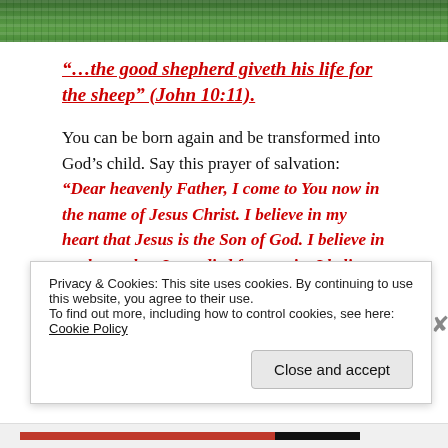[Figure (photo): Grass/lawn photograph at top of page]
“…the good shepherd giveth his life for the sheep” (John 10:11).
You can be born again and be transformed into God’s child. Say this prayer of salvation: “Dear heavenly Father, I come to You now in the name of Jesus Christ. I believe in my heart that Jesus is the Son of God. I believe in my heart that Jesus died for my sin. I believe that You raised Him from the dead. I believe that Jesus is LORD and I
Privacy & Cookies: This site uses cookies. By continuing to use this website, you agree to their use.
To find out more, including how to control cookies, see here: Cookie Policy
Close and accept